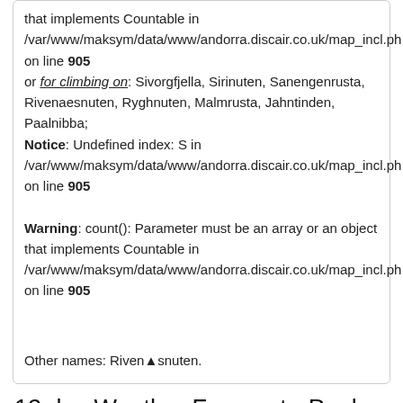that implements Countable in /var/www/maksym/data/www/andorra.discair.co.uk/map_incl.ph on line 905 or for climbing on: Sivorgfjella, Sirinuten, Sanengenrusta, Rivenaesnuten, Ryghnuten, Malmrusta, Jahntinden, Paalnibba; Notice: Undefined index: S in /var/www/maksym/data/www/andorra.discair.co.uk/map_incl.ph on line 905
Warning: count(): Parameter must be an array or an object that implements Countable in /var/www/maksym/data/www/andorra.discair.co.uk/map_incl.ph on line 905
Other names: Rivenäsnuten.
12 day Weather Forecast - Peak Rivenaesnuten
WED 31.08